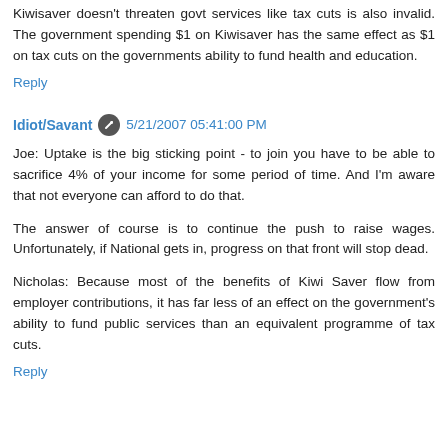Kiwisaver doesn't threaten govt services like tax cuts is also invalid. The government spending $1 on Kiwisaver has the same effect as $1 on tax cuts on the governments ability to fund health and education.
Reply
Idiot/Savant  5/21/2007 05:41:00 PM
Joe: Uptake is the big sticking point - to join you have to be able to sacrifice 4% of your income for some period of time. And I'm aware that not everyone can afford to do that.
The answer of course is to continue the push to raise wages. Unfortunately, if National gets in, progress on that front will stop dead.
Nicholas: Because most of the benefits of Kiwi Saver flow from employer contributions, it has far less of an effect on the government's ability to fund public services than an equivalent programme of tax cuts.
Reply